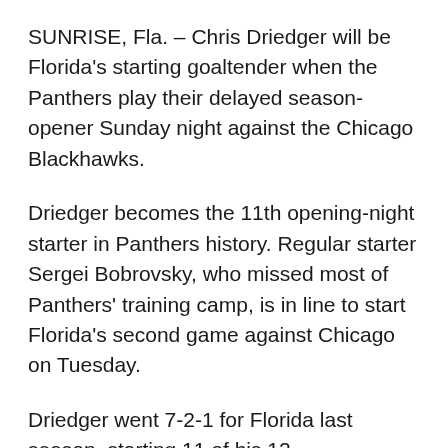SUNRISE, Fla. – Chris Driedger will be Florida's starting goaltender when the Panthers play their delayed season-opener Sunday night against the Chicago Blackhawks.
Driedger becomes the 11th opening-night starter in Panthers history. Regular starter Sergei Bobrovsky, who missed most of Panthers' training camp, is in line to start Florida's second game against Chicago on Tuesday.
Driedger went 7-2-1 for Florida last season, starting 11 of his 12 appearances.
“He had a great run for us,” Panthers coach Joel Quenneville said. “He did a great job of giving us a chance. The guys got a little bit familiar with him around the net. I thought he had some poise, some patience … he kept the game very simple.”